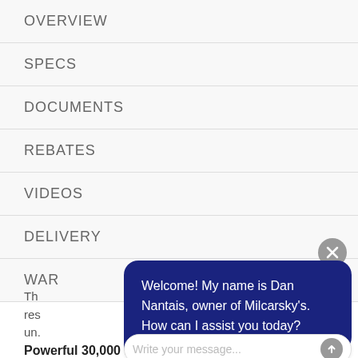OVERVIEW
SPECS
DOCUMENTS
REBATES
VIDEOS
DELIVERY
WAR[RANTY]
Th[is product...] res[ults...] un[der...]
[Figure (screenshot): Chat widget overlay with close button (X), dark navy speech bubble saying 'Welcome! My name is Dan Nantais, owner of Milcarsky's. How can I assist you today?', and a message input field with placeholder 'Write your message...' and a send button.]